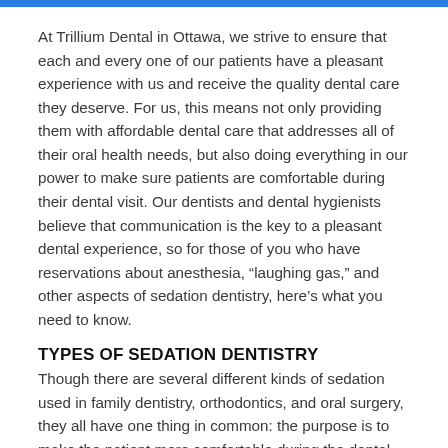At Trillium Dental in Ottawa, we strive to ensure that each and every one of our patients have a pleasant experience with us and receive the quality dental care they deserve. For us, this means not only providing them with affordable dental care that addresses all of their oral health needs, but also doing everything in our power to make sure patients are comfortable during their dental visit. Our dentists and dental hygienists believe that communication is the key to a pleasant dental experience, so for those of you who have reservations about anesthesia, “laughing gas,” and other aspects of sedation dentistry, here’s what you need to know.
TYPES OF SEDATION DENTISTRY
Though there are several different kinds of sedation used in family dentistry, orthodontics, and oral surgery, they all have one thing in common: the purpose is to make the patient more comfortable during the dental treatment. Some sedation techniques involve putting the patient to “sleep,” while others simply aid in patient relaxation when an area is numbed for treatment. That being said, here are the different types of sedation we use at our Ottawa dental clinic.